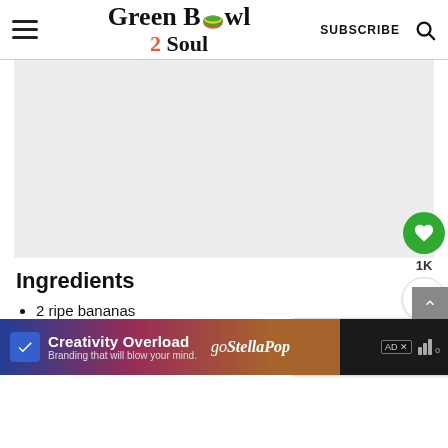Green Bowl 2 Soul — SUBSCRIBE
[Figure (other): Gray advertisement placeholder rectangle]
Ingredients
2 ripe bananas
8 spring roll sheets use rice sheets for gluten-free version
1 cup chocolate chips use dairy-free
[Figure (other): WHAT'S NEXT — Pan fried banana thumbnail widget]
[Figure (other): Creativity Overload / goStellaPop advertisement banner at bottom]